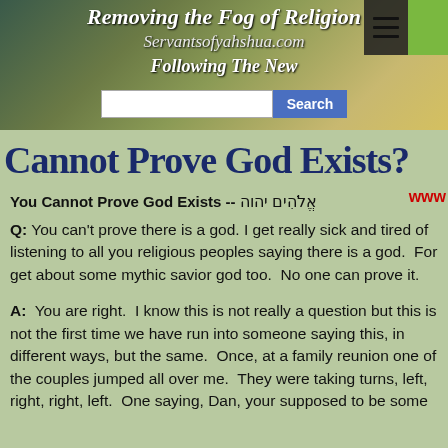Removing the Fog of Religion
Servantsofyahshua.com
Following The New
Cannot Prove God Exists?
You Cannot Prove God Exists -- אֱלֹהִים יהוה
Q: You can't prove there is a god. I get really sick and tired of listening to all you religious peoples saying there is a god. For get about some mythic savior god too. No one can prove it.
A: You are right. I know this is not really a question but this is not the first time we have run into someone saying this, in different ways, but the same. Once, at a family reunion one of the couples jumped all over me. They were taking turns, left, right, right, left. One saying, Dan, your supposed to be some